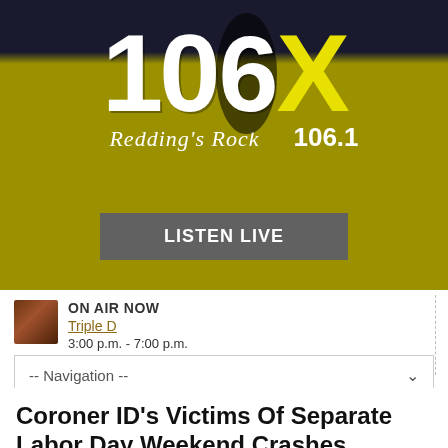[Figure (logo): 106X Redding's Rock 106.1 radio station logo on olive/yellow background with dark blue top banner]
LISTEN LIVE
ON AIR NOW
Triple D
3:00 p.m. - 7:00 p.m.
-- Navigation --
Coroner ID's Victims Of Separate Labor Day Weekend Crashes
September 6, 2017
A woman who died in a rollover crash in the Bella Vista area